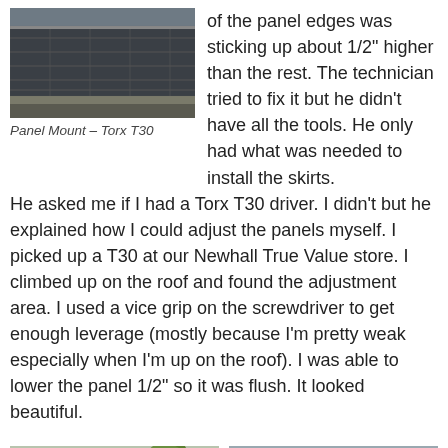[Figure (photo): Close-up photo of solar panel mount showing panel edge and mounting hardware]
Panel Mount – Torx T30
of the panel edges was sticking up about 1/2" higher than the rest. The technician tried to fix it but he didn't have all the tools. He only had what was needed to install the skirts. He asked me if I had a Torx T30 driver. I didn't but he explained how I could adjust the panels myself. I picked up a T30 at our Newhall True Value store. I climbed up on the roof and found the adjustment area. I used a vice grip on the screwdriver to get enough leverage (mostly because I'm pretty weak especially when I'm up on the roof). I was able to lower the panel 1/2" so it was flush. It looked beautiful.
[Figure (photo): Person standing on roof with trees in background]
[Figure (photo): Aerial view of solar panels installed flush on roof]